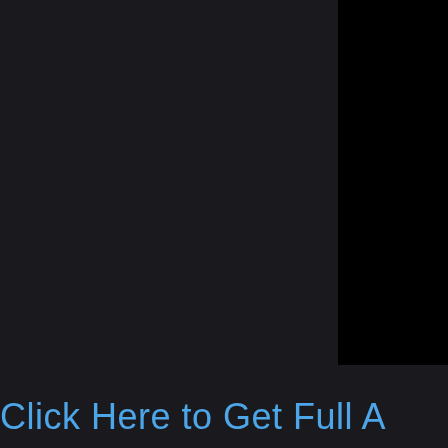[Figure (other): Dark background page with a black rectangular block in the upper right corner, and blue text partially visible at the bottom reading 'Click Here to Get Full A']
Click Here to Get Full A